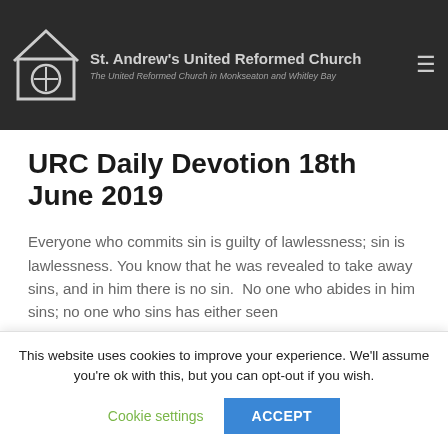St. Andrew's United Reformed Church — The United Reformed Church in Monkseaton and Whitley Bay
URC Daily Devotion 18th June 2019
Everyone who commits sin is guilty of lawlessness; sin is lawlessness. You know that he was revealed to take away sins, and in him there is no sin.  No one who abides in him sins; no one who sins has either seen
This website uses cookies to improve your experience. We'll assume you're ok with this, but you can opt-out if you wish.
Cookie settings   ACCEPT